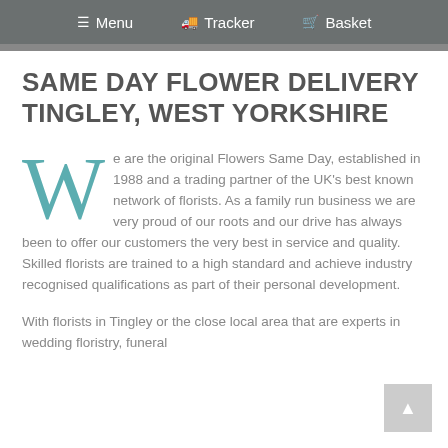☰ Menu  🚚 Tracker  🛒 Basket
SAME DAY FLOWER DELIVERY TINGLEY, WEST YORKSHIRE
We are the original Flowers Same Day, established in 1988 and a trading partner of the UK's best known network of florists. As a family run business we are very proud of our roots and our drive has always been to offer our customers the very best in service and quality. Skilled florists are trained to a high standard and achieve industry recognised qualifications as part of their personal development.
With florists in Tingley or the close local area that are experts in wedding floristry, funeral